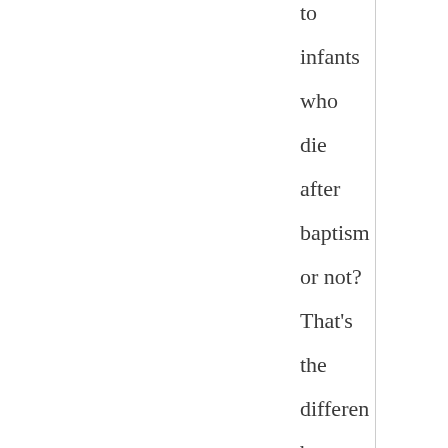to infants who die after baptism or not? That's the differen between baptism creating faith infants or saving without faith in